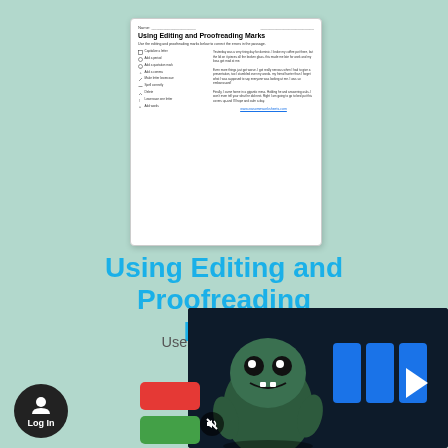[Figure (screenshot): Thumbnail of a worksheet titled 'Using Editing and Proofreading Marks' showing editing marks legend on the left and a passage of text on the right]
Using Editing and Proofreading Marks
Use the editing and proofreading marks below to correct the errors in the passage.
[Figure (screenshot): Ad overlay from @AdMetricsPro showing a cartoon monster character with blue play button graphics on a dark background]